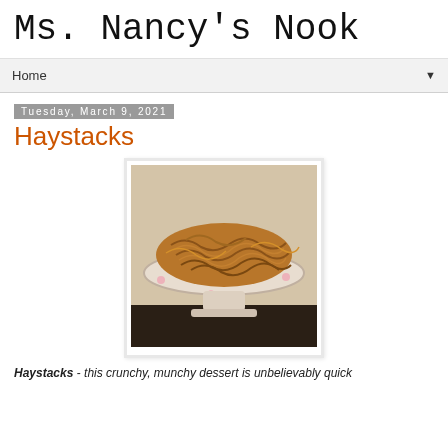Ms. Nancy's Nook
Home
Tuesday, March 9, 2021
Haystacks
[Figure (photo): A plate of haystacks (crunchy noodle candy clusters) piled on a decorative pedestal cake stand on a dark surface]
Haystacks - this crunchy, munchy dessert is unbelievably quick